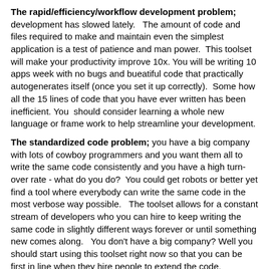The rapid/efficiency/workflow development problem; development has slowed lately.   The amount of code and files required to make and maintain even the simplest application is a test of patience and man power.  This toolset will make your productivity improve 10x. You will be writing 10 apps week with no bugs and bueatiful code that practically autogenerates itself (once you set it up correctly).  Some how all the 15 lines of code that you have ever written has been inefficient. You  should consider learning a whole new language or frame work to help streamline your development.
The standardized code problem; you have a big company with lots of cowboy programmers and you want them all to write the same code consistently and you have a high turn-over rate - what do you do?  You could get robots or better yet find a tool where everybody can write the same code in the most verbose way possible.   The toolset allows for a constant stream of developers who you can hire to keep writing the same code in slightly different ways forever or until something new comes along.   You don't have a big company? Well you should start using this toolset right now so that you can be first in line when they hire people to extend the code.